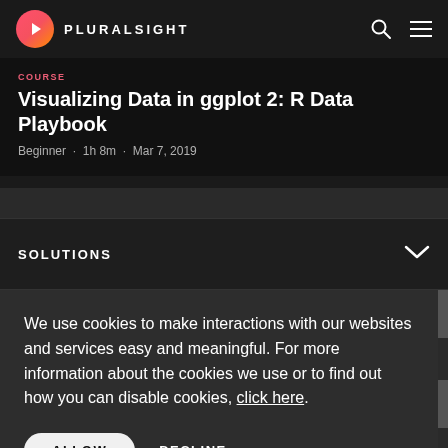PLURALSIGHT
Visualizing Data in ggplot 2: R Data Playbook
Beginner · 1h 8m · Mar 7, 2019
SOLUTIONS
We use cookies to make interactions with our websites and services easy and meaningful. For more information about the cookies we use or to find out how you can disable cookies, click here.
ALLOW    DECLINE